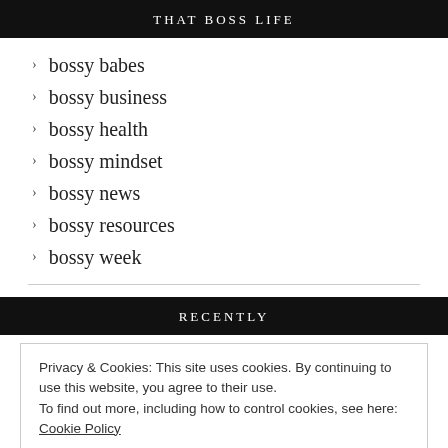THAT BOSS LIFE
bossy babes
bossy business
bossy health
bossy mindset
bossy news
bossy resources
bossy week
RECENTLY
Privacy & Cookies: This site uses cookies. By continuing to use this website, you agree to their use.
To find out more, including how to control cookies, see here: Cookie Policy
Close and accept